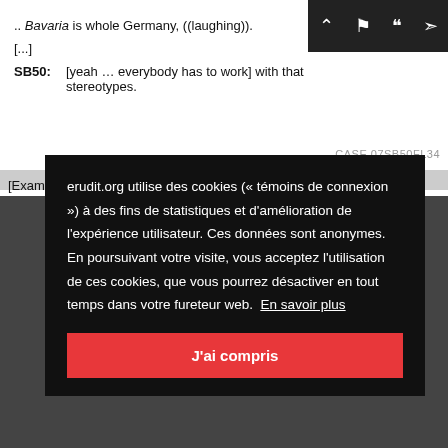.. Bavaria is whole Germany, ((laughing)).
[...]
SB50: [yeah ... everybody has to work] with that stereotypes.
CASE 07SB50FL34
[Exam
erudit.org utilise des cookies (« témoins de connexion ») à des fins de statistiques et d'amélioration de l'expérience utilisateur. Ces données sont anonymes. En poursuivant votre visite, vous acceptez l'utilisation de ces cookies, que vous pourrez désactiver en tout temps dans votre fureteur web. En savoir plus
J'ai compris